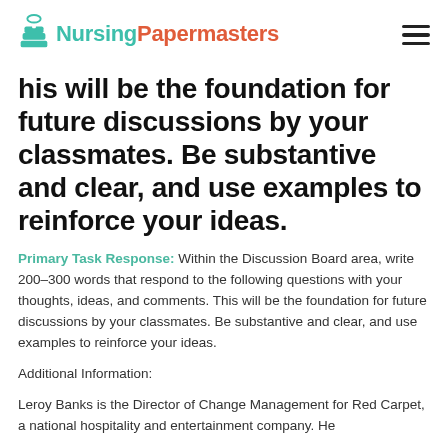NursingPapermasters
his will be the foundation for future discussions by your classmates. Be substantive and clear, and use examples to reinforce your ideas.
Primary Task Response: Within the Discussion Board area, write 200–300 words that respond to the following questions with your thoughts, ideas, and comments. This will be the foundation for future discussions by your classmates. Be substantive and clear, and use examples to reinforce your ideas.
Additional Information:
Leroy Banks is the Director of Change Management for Red Carpet, a national hospitality and entertainment company. He